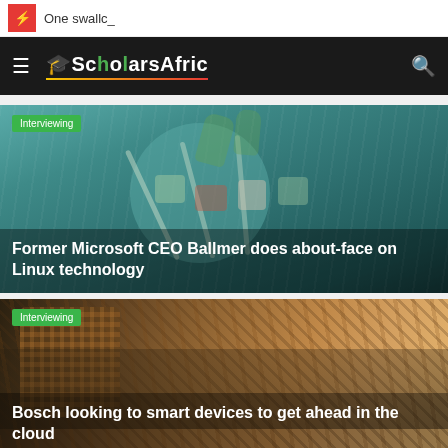One swallc_
[Figure (screenshot): ScholarsAfric website navigation bar with hamburger menu icon, logo, and search icon on dark background]
[Figure (photo): Food kebabs on teal/dark background with Interviewing category tag and article title overlay]
Former Microsoft CEO Ballmer does about-face on Linux technology
[Figure (photo): Wicker basket with warm orange/brown tones with Interviewing category tag and article title overlay]
Bosch looking to smart devices to get ahead in the cloud